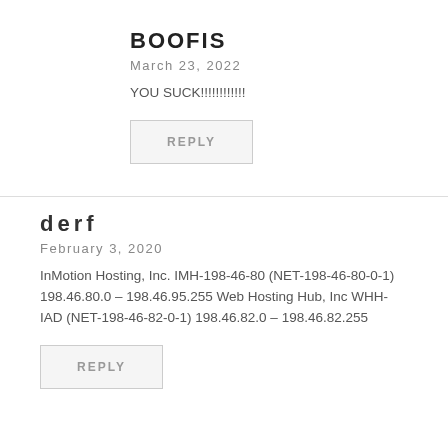BOOFIS
March 23, 2022
YOU SUCK!!!!!!!!!!!
REPLY
derf
February 3, 2020
InMotion Hosting, Inc. IMH-198-46-80 (NET-198-46-80-0-1) 198.46.80.0 – 198.46.95.255 Web Hosting Hub, Inc WHH-IAD (NET-198-46-82-0-1) 198.46.82.0 – 198.46.82.255
REPLY